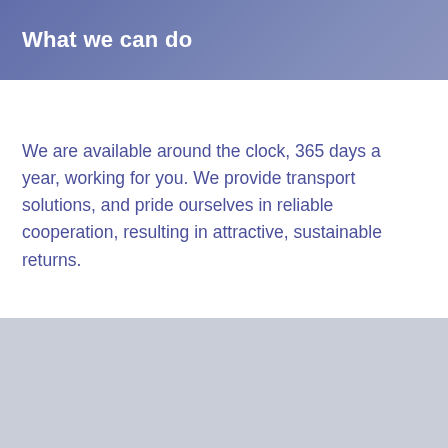What we can do
We are available around the clock, 365 days a year, working for you. We provide transport solutions, and pride ourselves in reliable cooperation, resulting in attractive, sustainable returns.